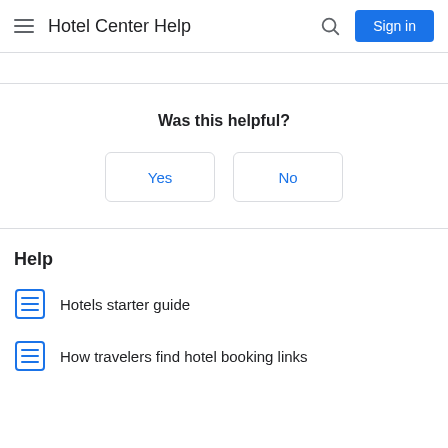Hotel Center Help
Was this helpful?
Yes | No
Help
Hotels starter guide
How travelers find hotel booking links